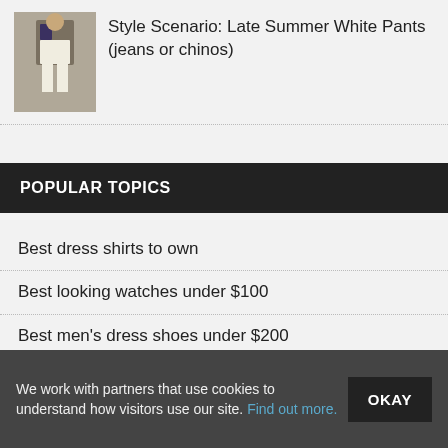[Figure (photo): Photo of a man wearing white pants and a casual blazer against a brick wall]
Style Scenario: Late Summer White Pants (jeans or chinos)
POPULAR TOPICS
Best dress shirts to own
Best looking watches under $100
Best men's dress shoes under $200
Nike Killshot sneaker alternatives
How to wear a suit without a tie
We work with partners that use cookies to understand how visitors use our site. Find out more.